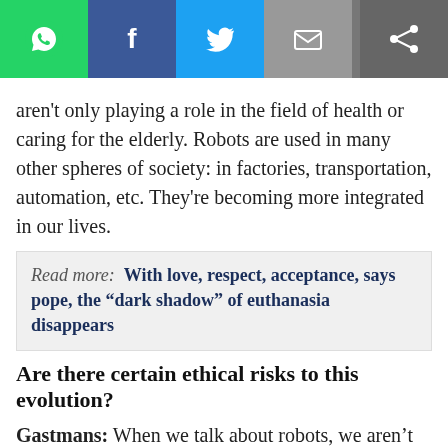[Figure (other): Social media share buttons bar: WhatsApp (green), Facebook (blue), Twitter (light blue), Email (grey), and a share icon on the right (dark grey)]
aren't only playing a role in the field of health or caring for the elderly. Robots are used in many other spheres of society: in factories, transportation, automation, etc. They're becoming more integrated in our lives.
Read more:   With love, respect, acceptance, says pope, the “dark shadow” of euthanasia disappears
Are there certain ethical risks to this evolution?
Gastmans: When we talk about robots, we aren’t limited only to those that perform technical tasks, but also to those, for example, that are able to “communicate” with the elderly. In this context, we can consider robots as a nurse’s assistant, helping them in their task, or conversely as their